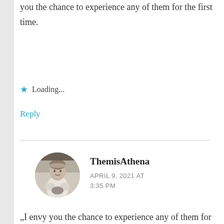you the chance to experience any of them for the first time.
★ Loading...
Reply
[Figure (photo): Circular avatar photo of ThemisAthena, a black-and-white vintage photo of a young girl]
ThemisAthena
APRIL 9, 2021 AT 3:35 PM
„I envy you the chance to experience any of them for the first time" … that sounds promising! 🙂